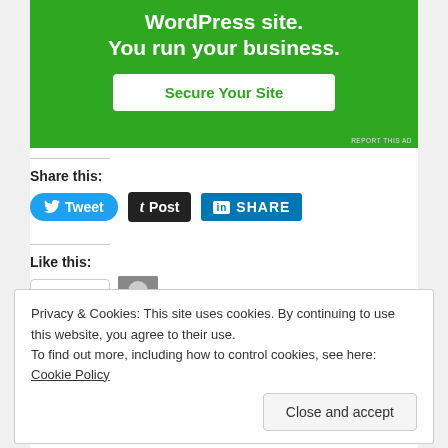[Figure (other): Green advertisement banner for WordPress site security with text 'WordPress site. You run your business.' and a 'Secure Your Site' button]
REPORT THIS AD
Share this:
[Figure (other): Tweet button (Twitter/X), Post button (Tumblr), SHARE button (LinkedIn)]
Like this:
[Figure (other): Like button with star icon and blogger avatar thumbnail]
One blogger likes this.
Privacy & Cookies: This site uses cookies. By continuing to use this website, you agree to their use. To find out more, including how to control cookies, see here: Cookie Policy
Close and accept